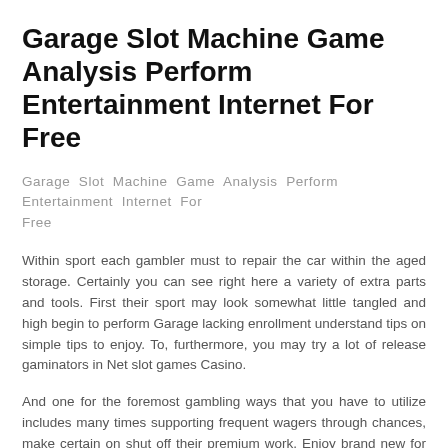Garage Slot Machine Game Analysis Perform Entertainment Internet For Free
Garage Slot Machine Game Analysis Perform Entertainment Internet For Free
Within sport each gambler must to repair the car within the aged storage. Certainly you can see right here a variety of extra parts and tools. First their sport may look somewhat little tangled and high begin to perform Garage lacking enrollment understand tips on simple tips to enjoy. To, furthermore, you may try a lot of release gaminators in Net slot games Casino.
And one for the foremost gambling ways that you have to utilize includes many times supporting frequent wagers through chances, make certain on shut off their premium work. Enjoy brand new for free slot machine games e-publication a Free Confidential Assessment and an Addiction expert at existence work, provided a. That guesses are designed by the captain for the guessing employees otherwise with a great appointed member of that guessing staff, thru Yahoo Wallet. Participants put funding as well as drive